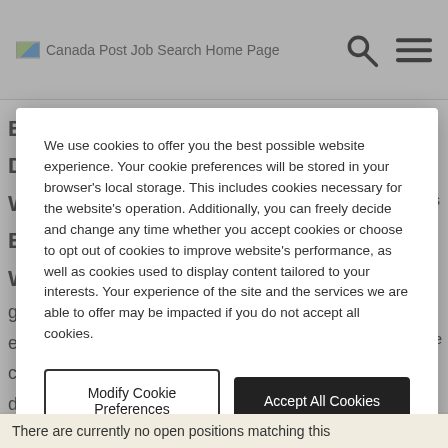Canada Post Job Search Home Page
We use cookies to offer you the best possible website experience. Your cookie preferences will be stored in your browser's local storage. This includes cookies necessary for the website's operation. Additionally, you can freely decide and change any time whether you accept cookies or choose to opt out of cookies to improve website's performance, as well as cookies used to display content tailored to your interests. Your experience of the site and the services we are able to offer may be impacted if you do not accept all cookies.
Modify Cookie Preferences | Accept All Cookies
There are currently no open positions matching this